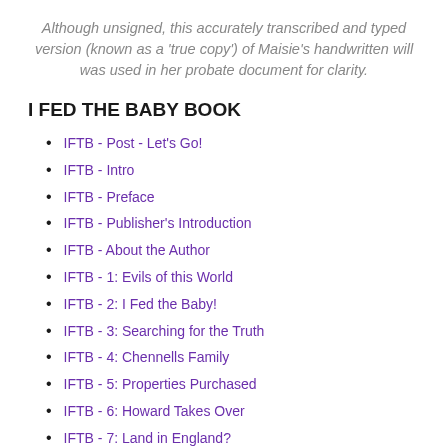Although unsigned, this accurately transcribed and typed version (known as a 'true copy') of Maisie's handwritten will was used in her probate document for clarity.
I FED THE BABY BOOK
IFTB - Post - Let's Go!
IFTB - Intro
IFTB - Preface
IFTB - Publisher's Introduction
IFTB - About the Author
IFTB - 1: Evils of this World
IFTB - 2: I Fed the Baby!
IFTB - 3: Searching for the Truth
IFTB - 4: Chennells Family
IFTB - 5: Properties Purchased
IFTB - 6: Howard Takes Over
IFTB - 7: Land in England?